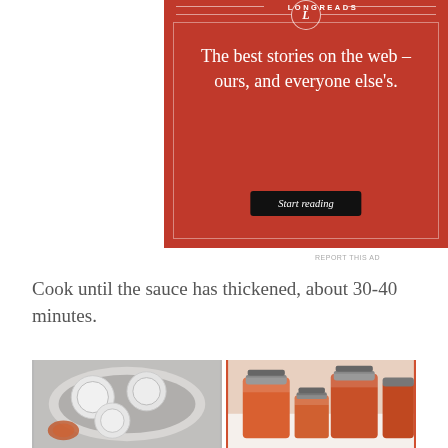[Figure (illustration): Longreads advertisement banner with red background. Shows the Longreads logo (L in a circle) at top, with decorative horizontal lines on each side. Tagline reads 'The best stories on the web – ours, and everyone else's.' with a black 'Start reading' button below.]
REPORT THIS AD
Cook until the sauce has thickened, about 30-40 minutes.
[Figure (photo): Two photos side by side: left shows glass mason jars being sterilized in a metal pot/canner; right shows filled mason jars containing orange-red tomato sauce.]